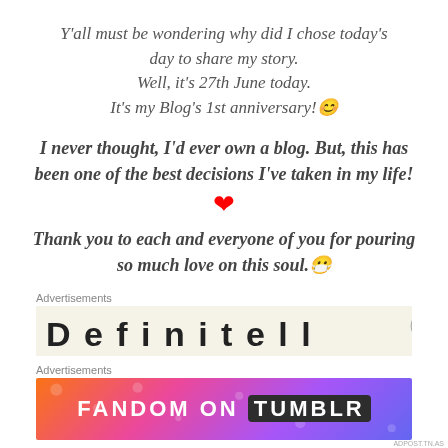Y'all must be wondering why did I chose today's day to share my story.
Well, it's 27th June today.
It's my Blog's 1st anniversary! 😊
I never thought, I'd ever own a blog. But, this has been one of the best decisions I've taken in my life!
❤
Thank you to each and everyone of you for pouring so much love on this soul. 😇
Advertisements
[Figure (other): Partial advertisement box with large text beginning 'D e f i...' on a cream background, with a close (X) button on the right]
Advertisements
[Figure (other): Tumblr Fandom banner advertisement with colorful gradient background (orange to purple) and white text 'FANDOM ON tumblr']